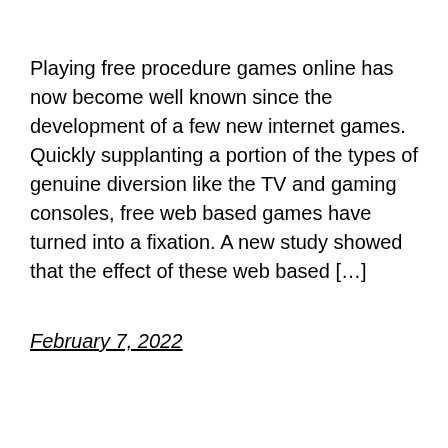Playing free procedure games online has now become well known since the development of a few new internet games. Quickly supplanting a portion of the types of genuine diversion like the TV and gaming consoles, free web based games have turned into a fixation. A new study showed that the effect of these web based […]
February 7, 2022